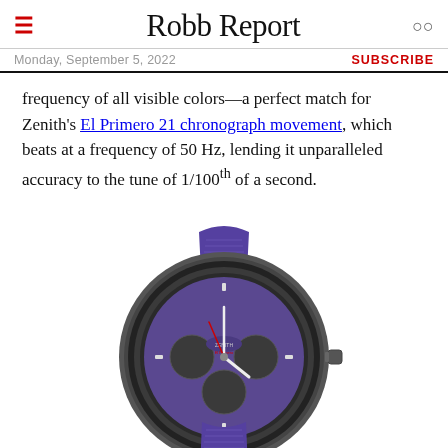Robb Report
Monday, September 5, 2022  SUBSCRIBE
frequency of all visible colors—a perfect match for Zenith's El Primero 21 chronograph movement, which beats at a frequency of 50 Hz, lending it unparalleled accuracy to the tune of 1/100th of a second.
[Figure (photo): Zenith El Primero 21 chronograph watch with dark gray ceramic case, purple dial with chronograph sub-dials, and purple rubber strap, photographed on white background]